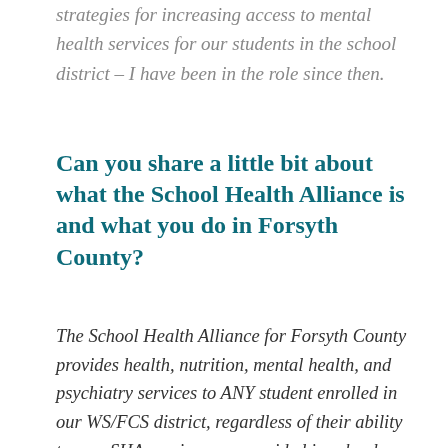strategies for increasing access to mental health services for our students in the school district – I have been in the role since then.
Can you share a little bit about what the School Health Alliance is and what you do in Forsyth County?
The School Health Alliance for Forsyth County provides health, nutrition, mental health, and psychiatry services to ANY student enrolled in our WS/FCS district, regardless of their ability to pay. SHA services are provided in school-based health clinics. The School-based health